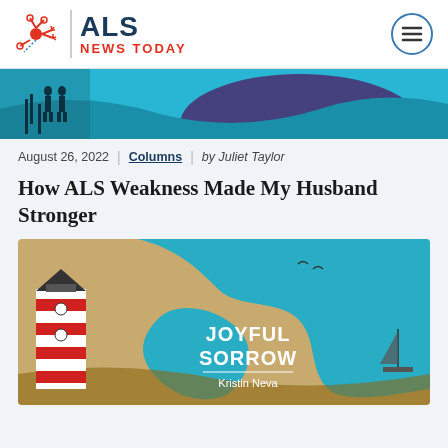ALS NEWS TODAY
[Figure (illustration): Hero banner showing silhouettes of two people standing on a dock with teal water and purple shapes in the background]
August 26, 2022 | Columns | by Juliet Taylor
How ALS Weakness Made My Husband Stronger
[Figure (illustration): Book cover illustration for 'Joyful Sorrow' by Kristin Neva, showing a lighthouse, a teal fluid shape on a sandy beach background with a sailboat and birds]